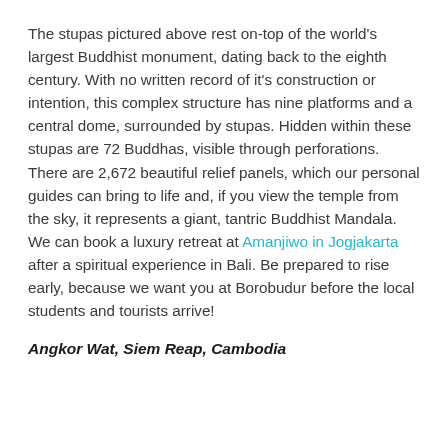The stupas pictured above rest on-top of the world's largest Buddhist monument, dating back to the eighth century. With no written record of it's construction or intention, this complex structure has nine platforms and a central dome, surrounded by stupas. Hidden within these stupas are 72 Buddhas, visible through perforations. There are 2,672 beautiful relief panels, which our personal guides can bring to life and, if you view the temple from the sky, it represents a giant, tantric Buddhist Mandala. We can book a luxury retreat at Amanjiwo in Jogjakarta after a spiritual experience in Bali. Be prepared to rise early, because we want you at Borobudur before the local students and tourists arrive!
Angkor Wat, Siem Reap, Cambodia